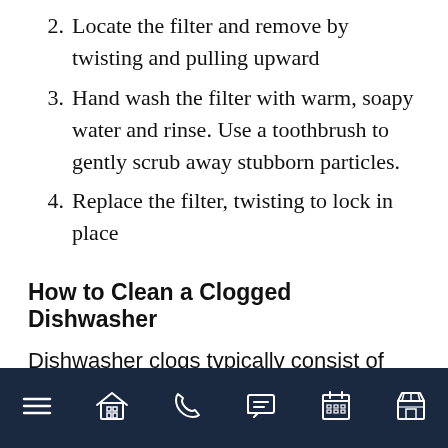2. Locate the filter and remove by twisting and pulling upward
3. Hand wash the filter with warm, soapy water and rinse. Use a toothbrush to gently scrub away stubborn particles.
4. Replace the filter, twisting to lock in place
How to Clean a Clogged Dishwasher
Dishwasher clogs typically consist of dirt, detergent suds and larger food particles.